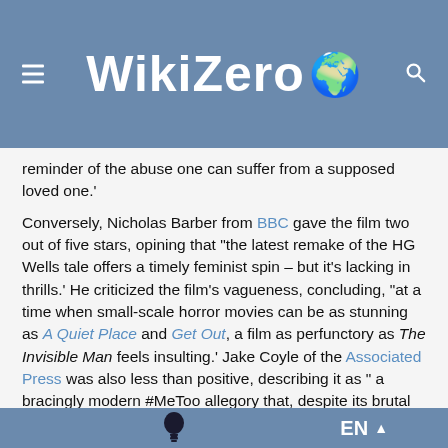WikiZero 🌍
reminder of the abuse one can suffer from a supposed loved one.'
Conversely, Nicholas Barber from BBC gave the film two out of five stars, opining that "the latest remake of the HG Wells tale offers a timely feminist spin – but it's lacking in thrills.' He criticized the film's vagueness, concluding, "at a time when small-scale horror movies can be as stunning as A Quiet Place and Get Out, a film as perfunctory as The Invisible Man feels insulting.' Jake Coyle of the Associated Press was also less than positive, describing it as " a bracingly modern #MeToo allegory that, despite its brutal craft, rings hollow.' Sarah-Tai Black of The Globe and Mail gave the film two out of four stars, writing: "While chock full of relatively good scares, campy effects, and an ending that will tickle a very specific demographic of 1990s and 2000s thriller fans with glee, The
💡    EN ▲